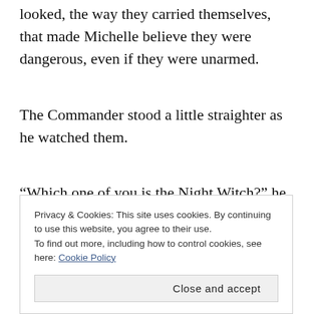looked, the way they carried themselves, that made Michelle believe they were dangerous, even if they were unarmed.
The Commander stood a little straighter as he watched them.
“Which one of you is the Night Witch?” he said staring
Privacy & Cookies: This site uses cookies. By continuing to use this website, you agree to their use.
To find out more, including how to control cookies, see here: Cookie Policy
Close and accept
accent,” though I’d prefer you call me Annette,